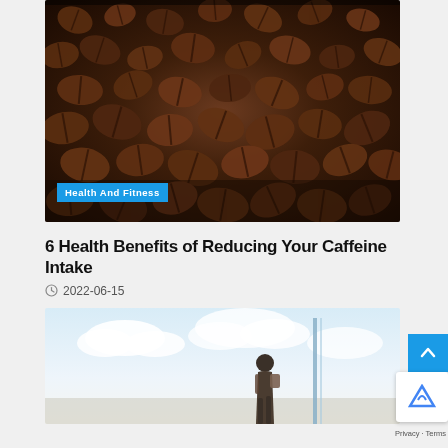[Figure (photo): Close-up photo of roasted coffee beans piled together, dark brown tones, shallow depth of field]
Health And Fitness
6 Health Benefits of Reducing Your Caffeine Intake
2022-06-15
[Figure (photo): Person with backpack standing outdoors, bright sky with clouds in background, next to a pole or structure]